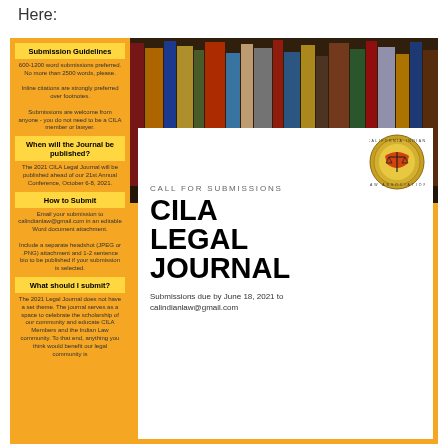Here:
Submission Guidelines
600-1200 word submissions preferred. No more than 2500 words, please.

Inline citations are strongly preferred over footnotes.

Submissions are welcome from anyone - you do not need to be a CILA member or lawyer.
When will the Journal be published?
The 2021 CILA Legal Journal will be published ahead of our 21st Annual Conference, October 6-8, 2021.
How to Submit
Email your submission to calindianlaw@gmail.com in an editable Word document attachment.

Include a separate headshot (JPEG or .PNG) attachment and 1-2 sentence bio to be published if your submission is selected.
What should I submit?
The 2021 Legal Journal does not have a set theme. The journal serves as a space to celebrate the scholarship of our community and educate CILA Members and the Indian Law community. To that end, anything you think would benefit our legal community is
[Figure (illustration): Books on a shelf background image (bookshelf with colorful book spines)]
CALL FOR SUBMISSIONS
CILA LEGAL JOURNAL
Submissions due by June 18, 2021 to calindianlaw@gmail.com